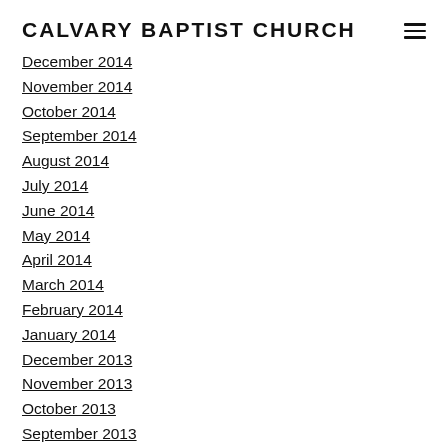CALVARY BAPTIST CHURCH
December 2014
November 2014
October 2014
September 2014
August 2014
July 2014
June 2014
May 2014
April 2014
March 2014
February 2014
January 2014
December 2013
November 2013
October 2013
September 2013
August 2013